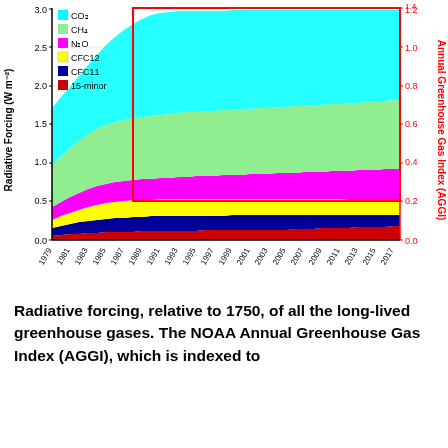[Figure (area-chart): Stacked area chart showing radiative forcing (W m-2) relative to 1750 for long-lived greenhouse gases from 1979 to 2018. Left y-axis: Radiative Forcing (W m-2) from 0.0 to 3.0. Right y-axis (red): Annual Greenhouse Gas Index (AGGI) from 0.0 to 1.4. A red rectangle marks the post-1990 Montreal Protocol era. Gases stacked: CO2 (cyan, largest), CH4 (light green), N2O (magenta), CFC12 (yellow), CFC11 (dark blue), 15-minor (red, smallest).]
Radiative forcing, relative to 1750, of all the long-lived greenhouse gases. The NOAA Annual Greenhouse Gas Index (AGGI), which is indexed to